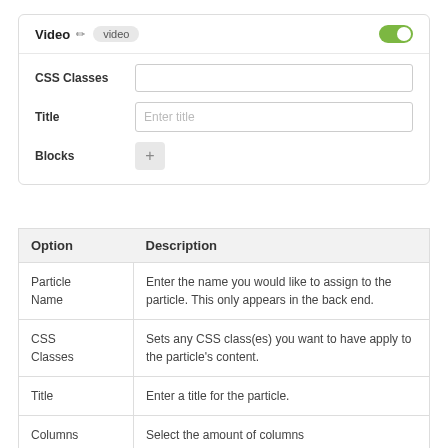[Figure (screenshot): UI card with Video label, toggle on, CSS Classes input, Title input with placeholder 'Enter title', and Blocks add button]
| Option | Description |
| --- | --- |
| Particle Name | Enter the name you would like to assign to the particle. This only appears in the back end. |
| CSS Classes | Sets any CSS class(es) you want to have apply to the particle's content. |
| Title | Enter a title for the particle. |
| Columns | Select the amount of columns |